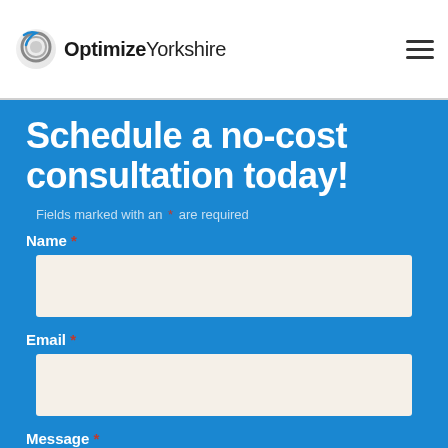OptimizeYorkshire
Schedule a no-cost consultation today!
Fields marked with an * are required
Name *
Email *
Message *